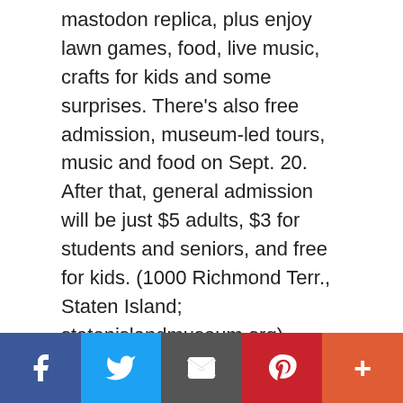mastodon replica, plus enjoy lawn games, food, live music, crafts for kids and some surprises. There's also free admission, museum-led tours, music and food on Sept. 20. After that, general admission will be just $5 adults, $3 for students and seniors, and free for kids. (1000 Richmond Terr., Staten Island; statenislandmuseum.org)
VIP PASS
Open House New York Weekend takes explorers on a tour of Google's New York headquarters on Oct. 17 and 18. The search engine's storied high-tech offices will be part of the "interior landmarks"